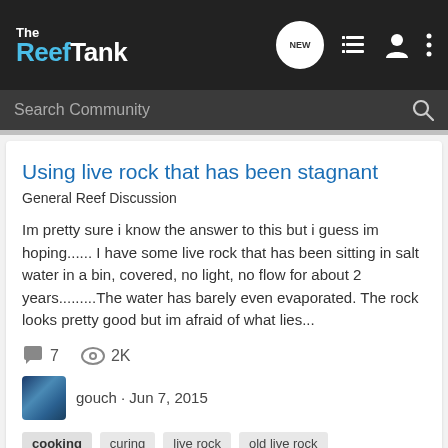The Reef Tank
Search Community
Using live rock that has been stagnant
General Reef Discussion
Im pretty sure i know the answer to this but i guess im hoping...... I have some live rock that has been sitting in salt water in a bin, covered, no light, no flow for about 2 years.........The water has barely even evaporated. The rock looks pretty good but im afraid of what lies...
7  2K
gouch · Jun 7, 2015
cooking  curing  live rock  old live rock
live rock cooking question